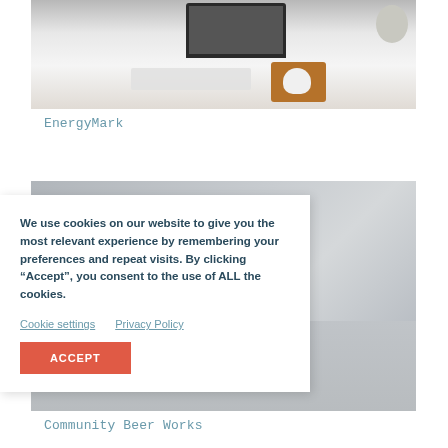[Figure (photo): Desk scene with a computer monitor, keyboard, mouse on a leather mousepad, and a small cactus plant on a white desk]
EnergyMark
[Figure (photo): Blurred office/desk background photo with papers and a pen visible]
We use cookies on our website to give you the most relevant experience by remembering your preferences and repeat visits. By clicking “Accept”, you consent to the use of ALL the cookies.
Cookie settings   Privacy Policy
ACCEPT
Community Beer Works